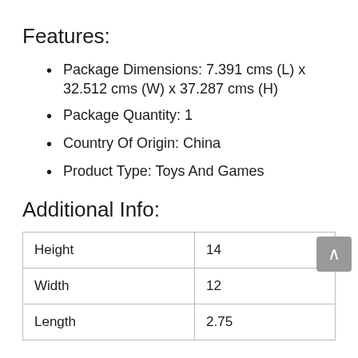Features:
Package Dimensions: 7.391 cms (L) x 32.512 cms (W) x 37.287 cms (H)
Package Quantity: 1
Country Of Origin: China
Product Type: Toys And Games
Additional Info:
| Height | 14 |
| Width | 12 |
| Length | 2.75 |